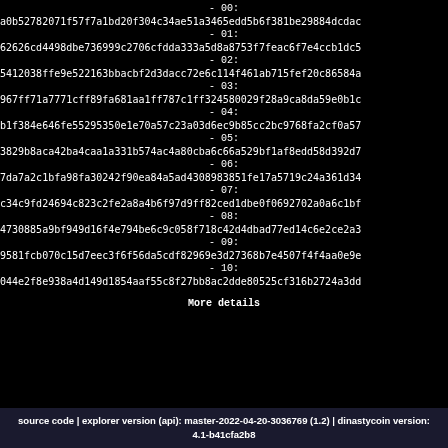- 00:
a0b52782071f57f7a1bd20f304c34ae51a3465edd5b6f381be29884dcdac
- 01:
62626cd4498dbe736999c2706cfdda333a5d8a8753f7feac6f7e4ccb1dc5
- 02:
5412038ffe9e522163bbacbf2d3dacc72e6c114f461ab715fef20c86584a
- 03:
967ff71a7771cff89fa681aa1ff787c1ff324580029f28a9ca8da59e0b1c
- 04:
b1f384e646fe55295350e1e70a57c23a03d6ec9b85cc2bc9768fa2cf0a57
- 05:
3829b8aca42ba4caa1a331b574ac4a80cba6c66a529bf1af8edd58d392d7
- 06:
7da7a2c1bfa98fa30242f90ea84a5ad4308983851fe17a5719c24a361d34
- 07:
c34c9fd24694c823c2fe2a8a4b6f97d9ff82ced1dbe0f0692702a0a6c1bf
- 08:
4730885a9bf949d16f4e794be6c9c058f718c42d4dbad77ed14c6e2ce2a3
- 09:
9581fcb070c15d7eec3f6f56da5cdf82969e3d27368b7e4507f4f4aa0e9e
- 10:
044e2f8e938a4d149d1854aaf55c8f27bb8ac2dde80525cf316b2724a3dd
More details
source code | explorer version (api): master-2022-04-20-3036769 (1.2) | dinastycoin version: 4.1-b41cfa2b8